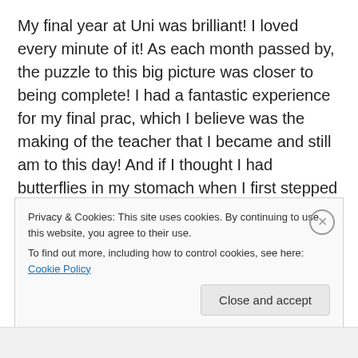My final year at Uni was brilliant! I loved every minute of it! As each month passed by, the puzzle to this big picture was closer to being complete! I had a fantastic experience for my final prac, which I believe was the making of the teacher that I became and still am to this day! And if I thought I had butterflies in my stomach when I first stepped into a classroom as an observing prac student, they were nothing like the night before my very first day of teaching! I hardly slept a wink! I couldn't stop thinking about everything. What was my class going to be like? Will I be able to cope? Am I organised enough? My very first…
Privacy & Cookies: This site uses cookies. By continuing to use this website, you agree to their use.
To find out more, including how to control cookies, see here: Cookie Policy